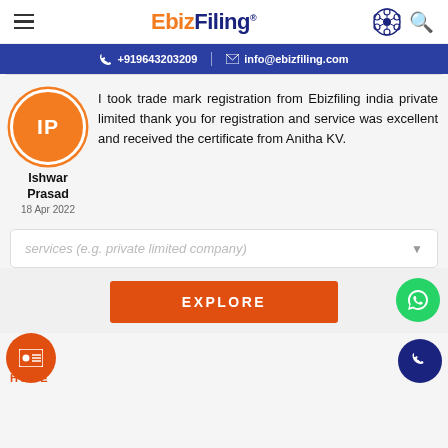EbizFiling
+919643203209 | info@ebizfiling.com
I took trade mark registration from Ebizfiling india private limited thank you for registration and service was excellent and received the certificate from Anitha KV.
Ishwar Prasad
18 Apr 2022
services (e.g. private limited company)
EXPLORE
HOME